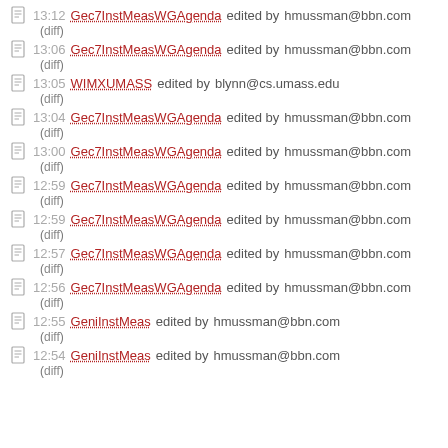13:12 Gec7InstMeasWGAgenda edited by hmussman@bbn.com (diff)
13:06 Gec7InstMeasWGAgenda edited by hmussman@bbn.com (diff)
13:05 WIMXUMASS edited by blynn@cs.umass.edu (diff)
13:04 Gec7InstMeasWGAgenda edited by hmussman@bbn.com (diff)
13:00 Gec7InstMeasWGAgenda edited by hmussman@bbn.com (diff)
12:59 Gec7InstMeasWGAgenda edited by hmussman@bbn.com (diff)
12:59 Gec7InstMeasWGAgenda edited by hmussman@bbn.com (diff)
12:57 Gec7InstMeasWGAgenda edited by hmussman@bbn.com (diff)
12:56 Gec7InstMeasWGAgenda edited by hmussman@bbn.com (diff)
12:55 GeniInstMeas edited by hmussman@bbn.com (diff)
12:54 GeniInstMeas edited by hmussman@bbn.com (diff)